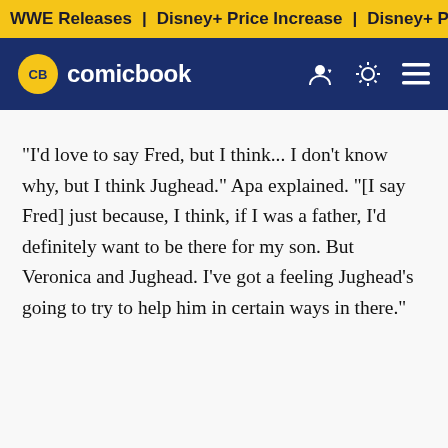WWE Releases | Disney+ Price Increase | Disney+ Price Incre
CB comicbook
"I'd love to say Fred, but I think... I don't know why, but I think Jughead." Apa explained. "[I say Fred] just because, I think, if I was a father, I'd definitely want to be there for my son. But Veronica and Jughead. I've got a feeling Jughead's going to try to help him in certain ways in there."